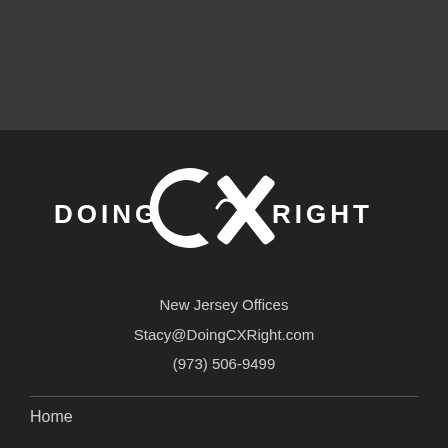[Figure (logo): Doing CX Right logo — white text 'DOING' on left, large white C and X letters in center circle/cross design, white text 'RIGHT' on right, on dark background]
New Jersey Offices
Stacy@DoingCXRight.com
(973) 506-9499
Home